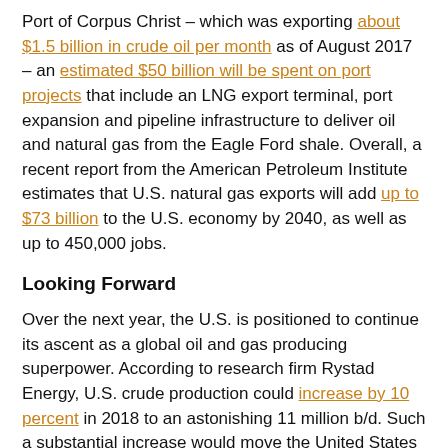Port of Corpus Christ – which was exporting about $1.5 billion in crude oil per month as of August 2017 – an estimated $50 billion will be spent on port projects that include an LNG export terminal, port expansion and pipeline infrastructure to deliver oil and natural gas from the Eagle Ford shale. Overall, a recent report from the American Petroleum Institute estimates that U.S. natural gas exports will add up to $73 billion to the U.S. economy by 2040, as well as up to 450,000 jobs.
Looking Forward
Over the next year, the U.S. is positioned to continue its ascent as a global oil and gas producing superpower. According to research firm Rystad Energy, U.S. crude production could increase by 10 percent in 2018 to an astonishing 11 million b/d. Such a substantial increase would move the United States ahead of producers such as Saudi